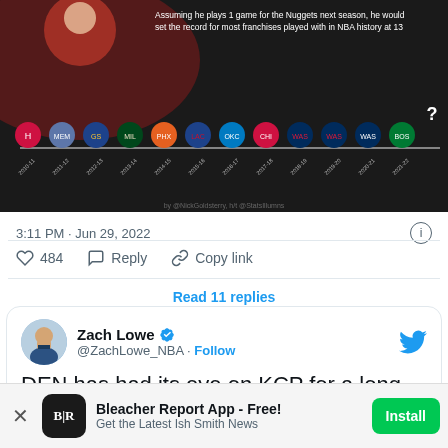[Figure (infographic): NBA team timeline infographic on dark background showing team logos across seasons 2010-11 through 2022-23, with text 'Assuming he plays 1 game for the Nuggets next season, he would set the record for most franchises played with in NBA history at 13']
3:11 PM · Jun 29, 2022
484  Reply  Copy link
Read 11 replies
Zach Lowe @ZachLowe_NBA · Follow
DEN has had its eye on KCP for a long time
Bleacher Report App - Free!
Get the Latest Ish Smith News